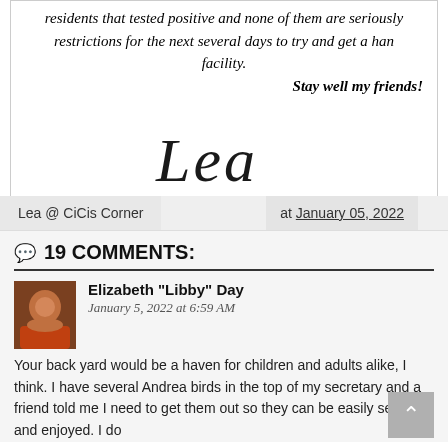residents that tested positive and none of them are seriously ill restrictions for the next several days to try and get a handle on the facility. Stay well my friends!
[Figure (illustration): Cursive signature reading 'Lea']
Lea @ CiCis Corner  at  January 05, 2022
19 COMMENTS:
Elizabeth "Libby" Day
January 5, 2022 at 6:59 AM
Your back yard would be a haven for children and adults alike, I think. I have several Andrea birds in the top of my secretary and a friend told me I need to get them out so they can be easily seen and enjoyed. I do